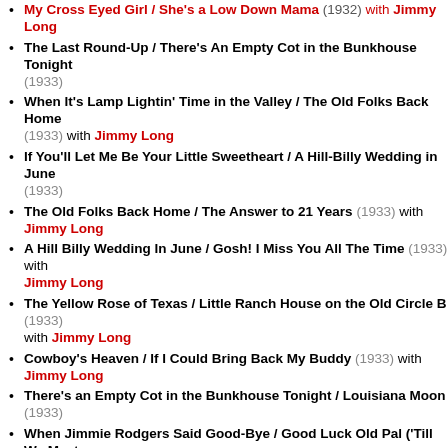My Cross Eyed Girl / She's a Low Down Mama (1932) with Jimmy Long
The Last Round-Up / There's An Empty Cot in the Bunkhouse Tonight (1933)
When It's Lamp Lightin' Time in the Valley / The Old Folks Back Home (1933) with Jimmy Long
If You'll Let Me Be Your Little Sweetheart / A Hill-Billy Wedding in June (1933)
The Old Folks Back Home / The Answer to 21 Years (1933) with Jimmy Long
A Hill Billy Wedding In June / Gosh! I Miss You All The Time (1933) with Jimmy Long
The Yellow Rose of Texas / Little Ranch House on the Old Circle B (1933) with Jimmy Long
Cowboy's Heaven / If I Could Bring Back My Buddy (1933) with Jimmy Long
There's an Empty Cot in the Bunkhouse Tonight / Louisiana Moon (1933)
When Jimmie Rodgers Said Good-Bye / Good Luck Old Pal ('Till We Meet Bye and Bye) (1933)
The Death of Jimmie Rodgers / The Life of Jimmie Rodgers (1933)
Way Out West in Texas / The Dying Cowgirl (1933)
That Silver Haired Daddy of Mine / My Old Pal of Yesteryear (1933)
Don't Take Me Back to the Chain Gang / Returning to My Cabin Home